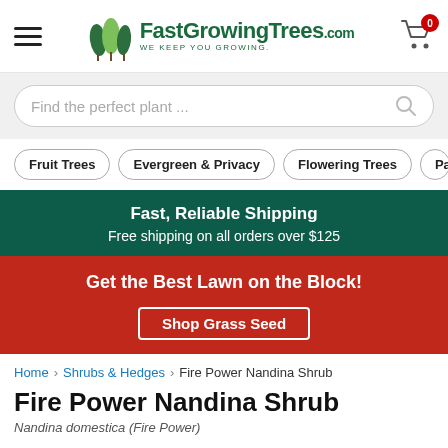FastGrowingTrees.com — WE KEEP YOU GROWING.
Find the perfect plant ...
Fruit Trees
Evergreen & Privacy
Flowering Trees
Palm Tre...
Fast, Reliable Shipping
Free shipping on all orders over $125
Get the Best Lawn on the Block!
Shop Grass Seed
Home › Shrubs & Hedges › Fire Power Nandina Shrub
Fire Power Nandina Shrub
Nandina domestica (Fire Power)